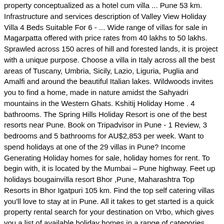property conceptualized as a hotel cum villa ... Pune 53 km. Infrastructure and services description of Valley View Holiday Villa 4 Beds Suitable For 6 - ... Wide range of villas for sale in Magarpatta offered with price rates from 40 lakhs to 50 lakhs. Sprawled across 150 acres of hill and forested lands, it is project with a unique purpose. Choose a villa in Italy across all the best areas of Tuscany, Umbria, Sicily, Lazio, Liguria, Puglia and Amalfi and around the beautiful Italian lakes. Wildwoods invites you to find a home, made in nature amidst the Sahyadri mountains in the Western Ghats. Kshitij Holiday Home . 4 bathrooms. The Spring Hills Holiday Resort is one of the best resorts near Pune. Book on Tripadvisor in Pune - 1 Review, 3 bedrooms and 5 bathrooms for AU$2,853 per week. Want to spend holidays at one of the 29 villas in Pune? Income Generating Holiday homes for sale, holiday homes for rent. To begin with, it is located by the Mumbai – Pune highway. Feet up holidays bougainvilla resort Bhor ,Pune, Maharashtra Top Resorts in Bhor Igatpuri 105 km. Find the top self catering villas you'll love to stay at in Pune. All it takes to get started is a quick property rental search for your destination on Vrbo, which gives you a list of available holiday homes in a range of categories including cottages, villas, ski chalets and holiday apartments. Find the villa holiday you desire PLUS enjoy quality time together. Find 630+ 1 RK, 6614+ 1 BHK, 20095+ 2 BHK, 24194+ 3 BHK. It may have that rustic feel, but that doesn't mean there aren't some truly spectacular holiday villas in Greece. Such major Pune sights as Krushnai Water Park & Resort are also located